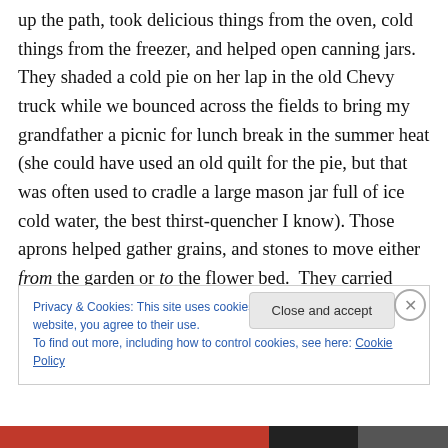up the path, took delicious things from the oven, cold things from the freezer, and helped open canning jars. They shaded a cold pie on her lap in the old Chevy truck while we bounced across the fields to bring my grandfather a picnic for lunch break in the summer heat (she could have used an old quilt for the pie, but that was often used to cradle a large mason jar full of ice cold water, the best thirst-quencher I know). Those aprons helped gather grains, and stones to move either from the garden or to the flower bed. They carried chicken feed and broken eggs shells to feed the chickens to make their
Privacy & Cookies: This site uses cookies. By continuing to use this website, you agree to their use.
To find out more, including how to control cookies, see here: Cookie Policy
Close and accept